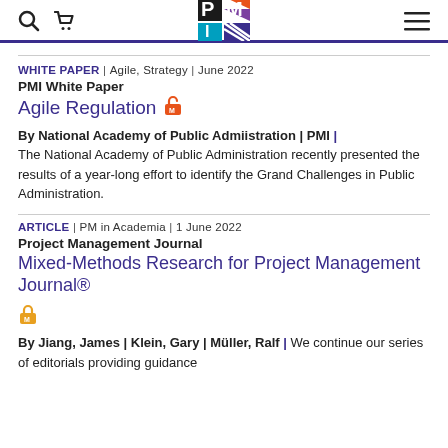PMI – search, cart, logo, menu navigation
WHITE PAPER | Agile, Strategy | June 2022
PMI White Paper
Agile Regulation
By National Academy of Public Admiistration | PMI | The National Academy of Public Administration recently presented the results of a year-long effort to identify the Grand Challenges in Public Administration.
ARTICLE | PM in Academia | 1 June 2022
Project Management Journal
Mixed-Methods Research for Project Management Journal®
By Jiang, James | Klein, Gary | Müller, Ralf | We continue our series of editorials providing guidance